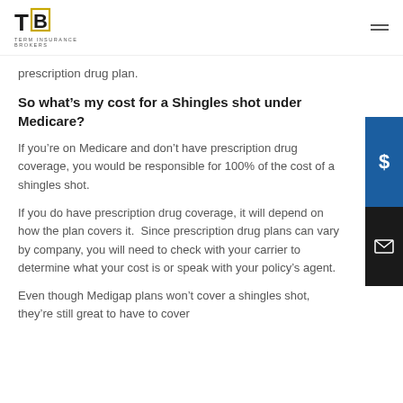TERM INSURANCE BROKERS
prescription drug plan.
So what’s my cost for a Shingles shot under Medicare?
If you’re on Medicare and don’t have prescription drug coverage, you would be responsible for 100% of the cost of a shingles shot.
If you do have prescription drug coverage, it will depend on how the plan covers it.  Since prescription drug plans can vary by company, you will need to check with your carrier to determine what your cost is or speak with your policy’s agent.
Even though Medigap plans won’t cover a shingles shot, they’re still great to have to cover